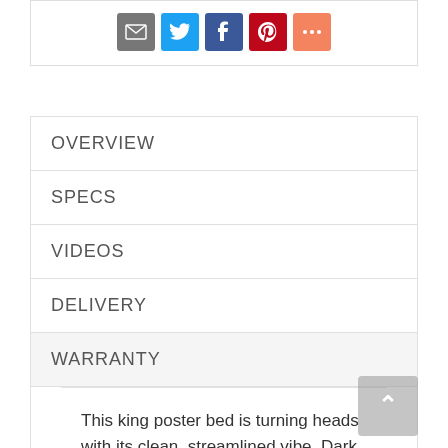[Figure (other): Social sharing icons: email (grey), Twitter (blue), Facebook (dark blue), Pinterest (red), More (orange-red)]
OVERVIEW
SPECS
VIDEOS
DELIVERY
WARRANTY
This king poster bed is turning heads with its clean, streamlined vibe. Dark brown finish has a gorgeous distressed effect, adding